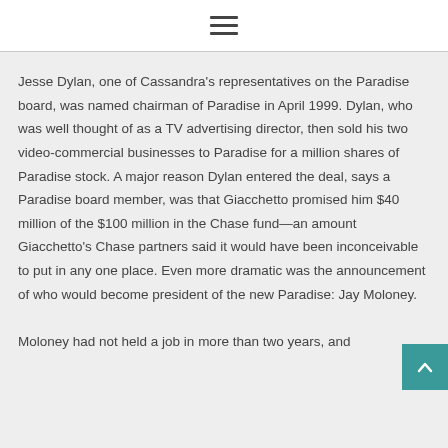Jesse Dylan, one of Cassandra's representatives on the Paradise board, was named chairman of Paradise in April 1999. Dylan, who was well thought of as a TV advertising director, then sold his two video-commercial businesses to Paradise for a million shares of Paradise stock. A major reason Dylan entered the deal, says a Paradise board member, was that Giacchetto promised him $40 million of the $100 million in the Chase fund—an amount Giacchetto's Chase partners said it would have been inconceivable to put in any one place. Even more dramatic was the announcement of who would become president of the new Paradise: Jay Moloney.
Moloney had not held a job in more than two years, and